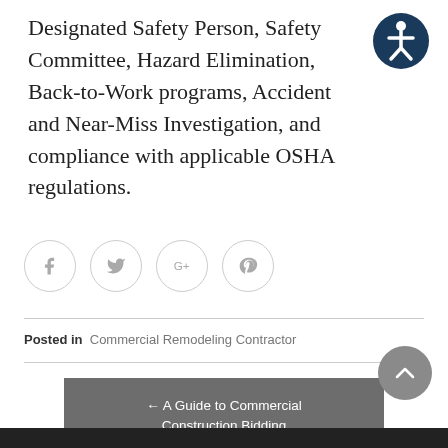Designated Safety Person, Safety Committee, Hazard Elimination, Back-to-Work programs, Accident and Near-Miss Investigation, and compliance with applicable OSHA regulations.
[Figure (illustration): Accessibility icon: blue circle with white person/wheelchair symbol]
[Figure (illustration): Social media sharing buttons: Facebook, Twitter, Google+, Pinterest — gray outlined circles with respective icons]
Posted in  Commercial Remodeling Contractor
← A Guide to Commercial Construction Bidding
A Guide to Hiring Subcontractors →
[Figure (illustration): Scroll-to-top button: gray circle with white upward chevron arrow]